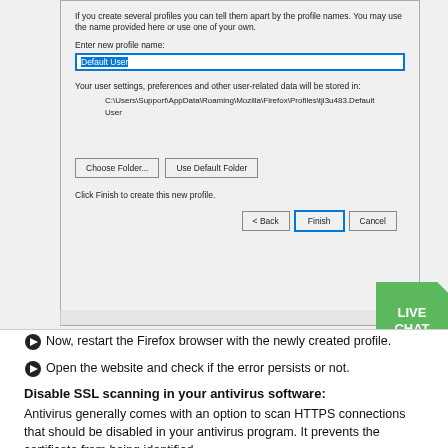[Figure (screenshot): Firefox Profile Manager dialog showing 'Enter new profile name:' field with 'Default User' highlighted in blue input box, path text showing C:\Users\Support\AppData\Roaming\Mozilla\Firefox\Profiles\tji3u483.Default User, Choose Folder and Use Default Folder buttons, 'Click Finish to create this new profile.' text, and Back, Finish, Cancel buttons at the bottom. A green Live Chat badge appears in the bottom right corner.]
Now, restart the Firefox browser with the newly created profile.
Open the website and check if the error persists or not.
Disable SSL scanning in your antivirus software:
Antivirus generally comes with an option to scan HTTPS connections that should be disabled in your antivirus program. It prevents the certificate from being identified.